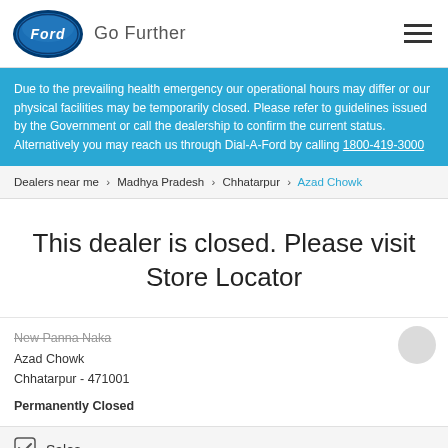[Figure (logo): Ford oval logo with 'Ford' script in white on blue background, with text 'Go Further' to the right]
Due to the prevailing health emergency our operational hours may differ or our physical facilities may be temporarily closed. Please refer to guidelines issued by the Government or call the dealership to confirm the current status. Alternatively you may reach us through Dial-A-Ford by calling 1800-419-3000
Dealers near me > Madhya Pradesh > Chhatarpur > Azad Chowk
This dealer is closed. Please visit Store Locator
New Panna Naka
Azad Chowk
Chhatarpur - 471001
Permanently Closed
Sales